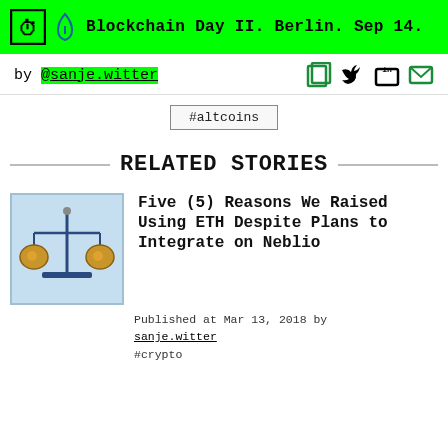Blockchain Day II. Berlin. Sep 14.
by @sanje.witter
#altcoins
RELATED STORIES
[Figure (illustration): Balance scale illustration with yellow coin pans on blue background]
Five (5) Reasons We Raised Using ETH Despite Plans to Integrate on Neblio
Published at Mar 13, 2018 by sanje.witter #crypto